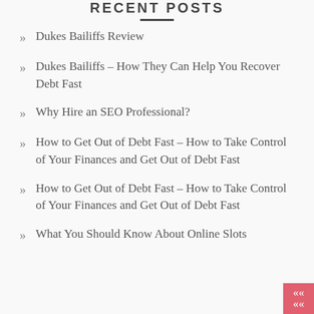RECENT POSTS
Dukes Bailiffs Review
Dukes Bailiffs – How They Can Help You Recover Debt Fast
Why Hire an SEO Professional?
How to Get Out of Debt Fast – How to Take Control of Your Finances and Get Out of Debt Fast
How to Get Out of Debt Fast – How to Take Control of Your Finances and Get Out of Debt Fast
What You Should Know About Online Slots